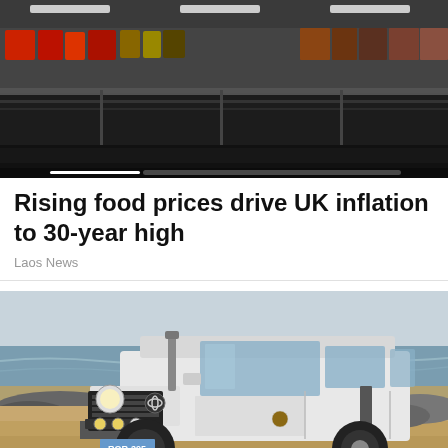[Figure (photo): Supermarket refrigerated display aisle with food products on shelves, viewed from a low angle. A white progress/slider bar is visible at the bottom of the image.]
Rising food prices drive UK inflation to 30-year high
Laos News
[Figure (photo): White Toyota Land Cruiser 70 series 4WD vehicle parked on a sandy beach with ocean in background. License plate reads RQR-295. Vehicle has auxiliary lights on front bumper.]